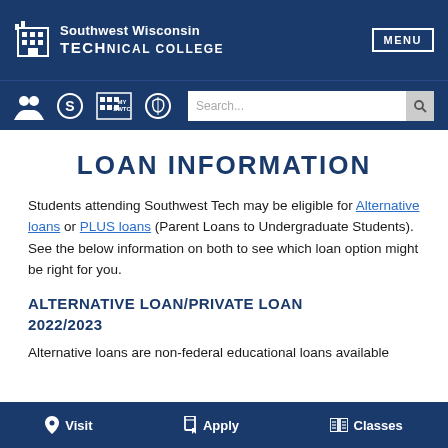Southwest Wisconsin TECHNICAL COLLEGE | MENU
LOAN INFORMATION
Students attending Southwest Tech may be eligible for Alternative loans or PLUS loans (Parent Loans to Undergraduate Students). See the below information on both to see which loan option might be right for you.
ALTERNATIVE LOAN/PRIVATE LOAN 2022/2023
Alternative loans are non-federal educational loans available
Visit   Apply   Classes